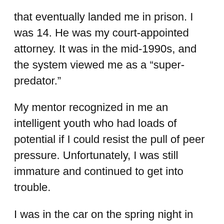that eventually landed me in prison. I was 14. He was my court-appointed attorney. It was in the mid-1990s, and the system viewed me as a “super-predator.”
My mentor recognized in me an intelligent youth who had loads of potential if I could resist the pull of peer pressure. Unfortunately, I was still immature and continued to get into trouble.
I was in the car on the spring night in 1995 when my friend shot and killed a member of a rival gang. I was just two days past my 16th birthday. I didn’t pull the trigger, but I shouldn’t have been there. I will never forget the disappointment on my mentor’s face when he told me I’d really messed up this time. I received the same first-degree murder verdict as the shooter and was